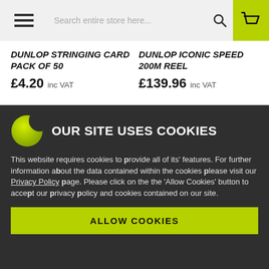Search entire store here...
DUNLOP STRINGING CARD PACK OF 50
£4.20 inc VAT
DUNLOP ICONIC SPEED 200M REEL
£139.96 inc VAT
OUR SITE USES COOKIES
This website requires cookies to provide all of its' features. For further information about the data contained within the cookies please visit our Privacy Policy page. Please click on the the 'Allow Cookies' button to accept our privacy policy and cookies contained on our site.
ALLOW COOKIES